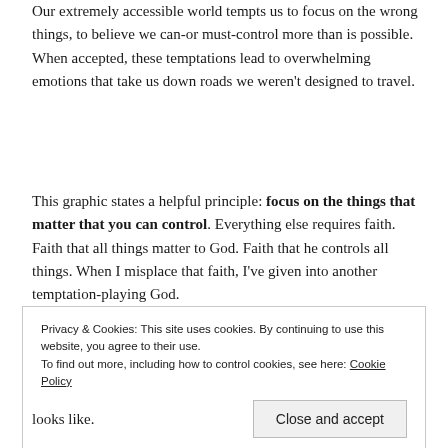Our extremely accessible world tempts us to focus on the wrong things, to believe we can-or must-control more than is possible. When accepted, these temptations lead to overwhelming emotions that take us down roads we weren't designed to travel.
This graphic states a helpful principle: focus on the things that matter that you can control. Everything else requires faith. Faith that all things matter to God. Faith that he controls all things. When I misplace that faith, I've given into another temptation-playing God.
Privacy & Cookies: This site uses cookies. By continuing to use this website, you agree to their use. To find out more, including how to control cookies, see here: Cookie Policy
Close and accept
looks like.